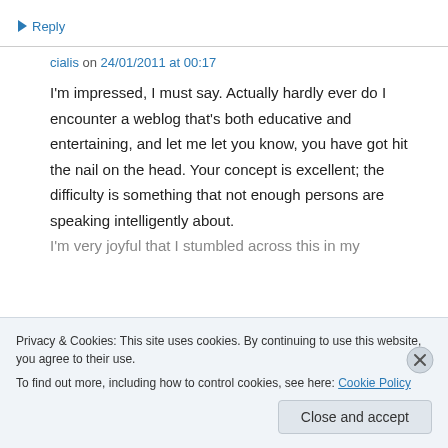↳ Reply
cialis on 24/01/2011 at 00:17
I'm impressed, I must say. Actually hardly ever do I encounter a weblog that's both educative and entertaining, and let me let you know, you have got hit the nail on the head. Your concept is excellent; the difficulty is something that not enough persons are speaking intelligently about. I'm very joyful that I stumbled across this in my
Privacy & Cookies: This site uses cookies. By continuing to use this website, you agree to their use.
To find out more, including how to control cookies, see here: Cookie Policy